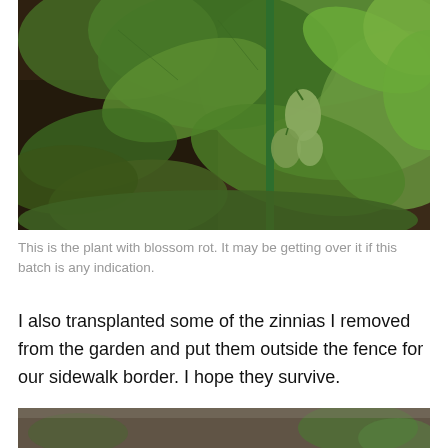[Figure (photo): Close-up photo of tomato plant with green tomatoes forming on the vine, dark soil visible, green stake in background, lush green leaves surrounding]
This is the plant with blossom rot. It may be getting over it if this batch is any indication.
I also transplanted some of the zinnias I removed from the garden and put them outside the fence for our sidewalk border. I hope they survive.
[Figure (photo): Partially visible photo of garden ground, blurred, showing soil and plants at the bottom of the page]